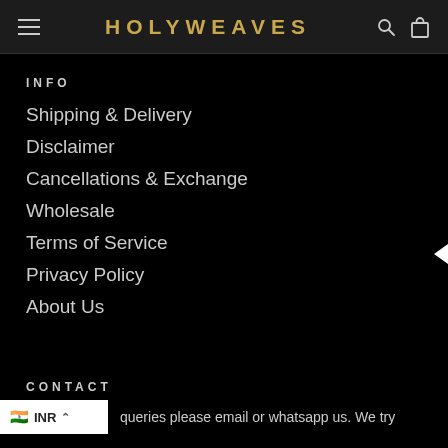HOLYWEAVES
INFO
Shipping & Delivery
Disclaimer
Cancellations & Exchange
Wholesale
Terms of Service
Privacy Policy
About Us
CONTACT
queries please email or whatsapp us. We try